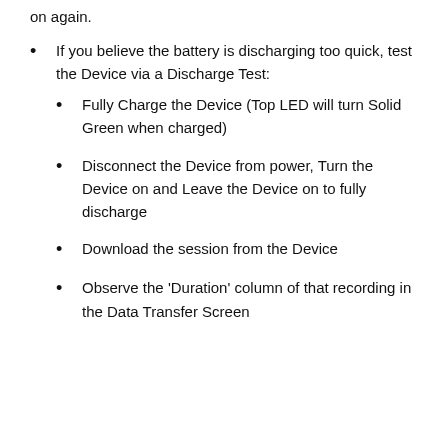If you believe the battery is discharging too quick, test the Device via a Discharge Test:
Fully Charge the Device (Top LED will turn Solid Green when charged)
Disconnect the Device from power, Turn the Device on and Leave the Device on to fully discharge
Download the session from the Device
Observe the 'Duration' column of that recording in the Data Transfer Screen